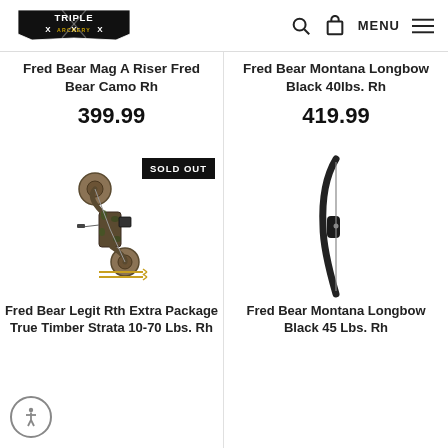Triple X Archery — navigation header with logo, search, cart, MENU
Fred Bear Mag A Riser Fred Bear Camo Rh
399.99
Fred Bear Montana Longbow Black 40lbs. Rh
419.99
[Figure (photo): Compound bow in camo finish with SOLD OUT badge — Fred Bear Legit Rth Extra Package True Timber Strata 10-70 Lbs. Rh]
Fred Bear Legit Rth Extra Package True Timber Strata 10-70 Lbs. Rh
[Figure (photo): Black longbow — Fred Bear Montana Longbow Black 45 Lbs. Rh]
Fred Bear Montana Longbow Black 45 Lbs. Rh